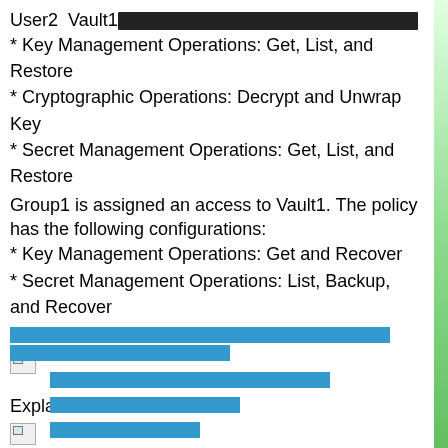User2  Vault1 [redacted]
* Key Management Operations: Get, List, and Restore
* Cryptographic Operations: Decrypt and Unwrap Key
* Secret Management Operations: Get, List, and Restore
Group1 is assigned an access to Vault1. The policy has the following configurations:
* Key Management Operations: Get and Recover
* Secret Management Operations: List, Backup, and Recover
[redacted blue bar]
[Figure (illustration): Broken image placeholder]
Explanation:
[Figure (illustration): Broken image placeholder]
Explanation
[Figure (illustration): Broken image placeholder]
[redacted blue bar - bottom section with indented lines]